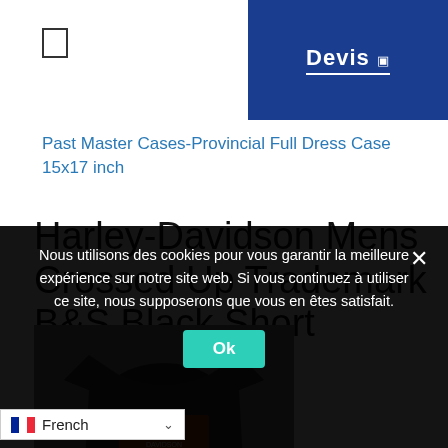[Figure (screenshot): Blue 'Devis' button in top right corner]
[Figure (illustration): Checkbox/document icon in top left]
Past Master Cases-Provincial Full Dress Case 15x17 inch
Harley-Davidson Mens Crossed Up Trademark B&S Black Short Sleeve T-Shirt
[Figure (photo): Photo of a dark gray Harley-Davidson t-shirt with orange graphic on front, on grey background]
Nous utilisons des cookies pour vous garantir la meilleure expérience sur notre site web. Si vous continuez à utiliser ce site, nous supposerons que vous en êtes satisfait.
Ok
French